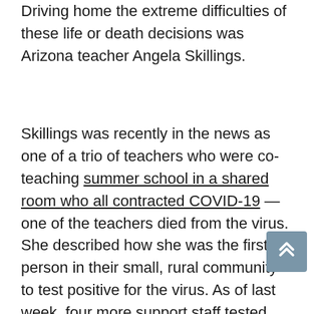Driving home the extreme difficulties of these life or death decisions was Arizona teacher Angela Skillings.
Skillings was recently in the news as one of a trio of teachers who were co-teaching summer school in a shared room who all contracted COVID-19 — one of the teachers died from the virus. She described how she was the first person in their small, rural community to test positive for the virus. As of last week, four more support staff tested positive, resulting in slightly more than 11 percent of the school staff infected. In her testimony, she expressed concern for the mental and social-emotional health of students without in-person schooling, but